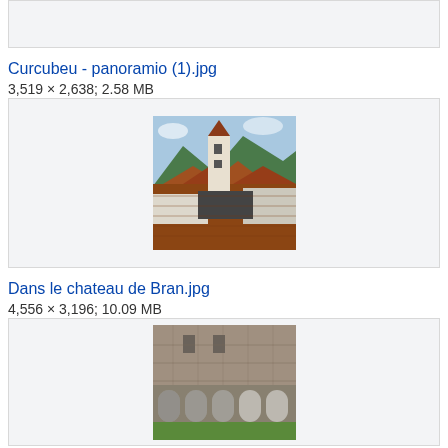[Figure (photo): Partial thumbnail box from previous entry (top of page, clipped)]
Curcubeu - panoramio (1).jpg
3,519 × 2,638; 2.58 MB
[Figure (photo): Aerial view of Bran Castle rooftops with a tower and mountains in the background]
Dans le chateau de Bran.jpg
4,556 × 3,196; 10.09 MB
[Figure (photo): Stone wall of Bran Castle with arched colonnade at ground level and green lawn in front]